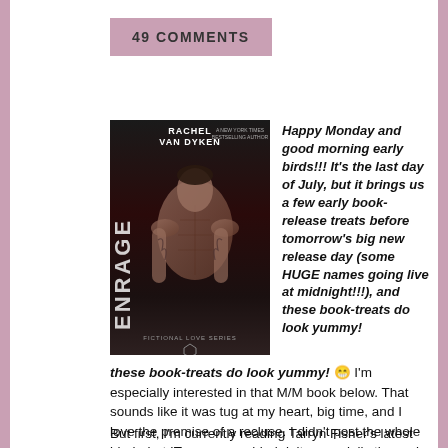49 COMMENTS
[Figure (illustration): Book cover for 'Enrage' by Rachel Van Dyken featuring a muscular shirtless man in dark tones]
Happy Monday and good morning early birds!!! It's the last day of July, but it brings us a few early book-release treats before tomorrow's big new release day (some HUGE names going live at midnight!!!), and these book-treats do look yummy! 😁 I'm especially interested in that M/M book below. That sounds like it was tug at my heart, big time, and I love the premise of a recluse. I didn't post the whole blurb, but IT gave me a blurb jolt, especially the end.
But first, I'm currently reading Tarryn Fisher's latest (Atheists Who Kneel and Pray: a romance novel), and of course… I'm so into it. Her voice and writing style